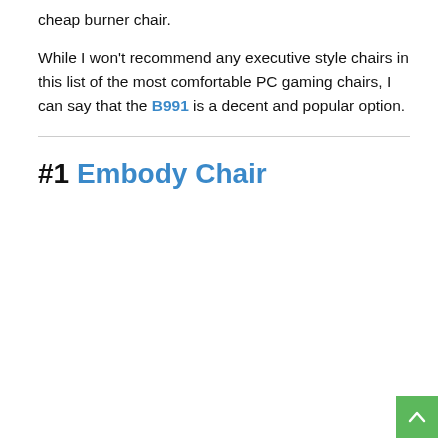cheap burner chair.

While I won't recommend any executive style chairs in this list of the most comfortable PC gaming chairs, I can say that the B991 is a decent and popular option.
#1 Embody Chair